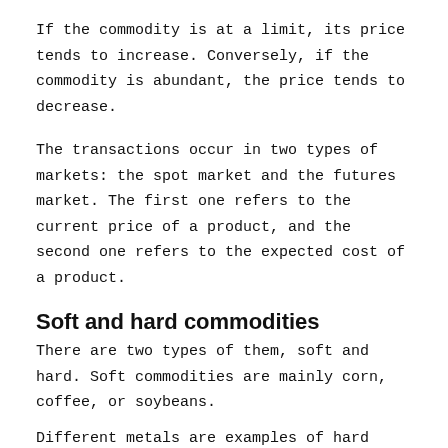If the commodity is at a limit, its price tends to increase. Conversely, if the commodity is abundant, the price tends to decrease.
The transactions occur in two types of markets: the spot market and the futures market. The first one refers to the current price of a product, and the second one refers to the expected cost of a product.
Soft and hard commodities
There are two types of them, soft and hard. Soft commodities are mainly corn, coffee, or soybeans.
Different metals are examples of hard commodities.
It is possible to acquire these essential goods in the financial system, depending on their price and quantity.